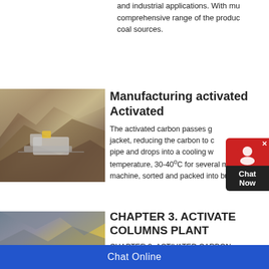and industrial applications. With mu comprehensive range of the produc coal sources.
[Figure (photo): Mining equipment/machinery at an open pit mine site, showing a large piece of equipment on exposed earth and rock.]
Manufacturing activated Activated
The activated carbon passes g jacket, reducing the carbon to c pipe and drops into a cooling w temperature, 30-40°C for several mi machine, sorted and packed into bu
[Figure (photo): Open pit mine with heavy machinery including a yellow loader/bulldozer working in a rocky quarry environment. A person is visible for scale.]
CHAPTER 3. ACTIVATED COLUMNS PLANT
CHAPTER 3. ACTIVATED CARBON 3.2.2. Calculations. Firstly, it was ne